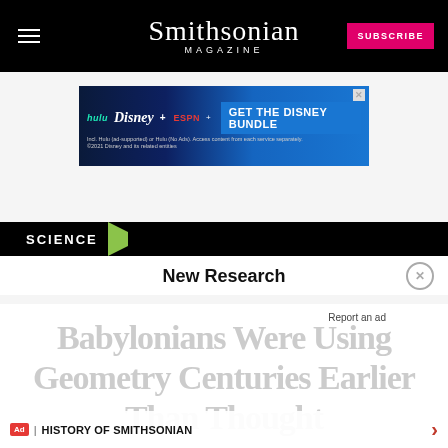Smithsonian MAGAZINE
[Figure (screenshot): Disney Bundle advertisement banner: hulu, Disney+, ESPN+, GET THE DISNEY BUNDLE. Incl. Hulu (ad-supported) or Hulu (No Ads). Access content from each service separately. ©2021 Disney and its related entities]
SCIENCE
New Research
Babylonians Were Using Geometry Centuries Earlier Than Thought
HISTORY OF SMITHSONIAN
Ad | An AMG Site